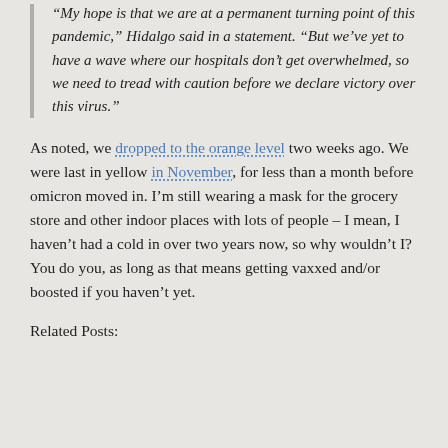“My hope is that we are at a permanent turning point of this pandemic,” Hidalgo said in a statement. “But we’ve yet to have a wave where our hospitals don’t get overwhelmed, so we need to tread with caution before we declare victory over this virus.”
As noted, we dropped to the orange level two weeks ago. We were last in yellow in November, for less than a month before omicron moved in. I’m still wearing a mask for the grocery store and other indoor places with lots of people – I mean, I haven’t had a cold in over two years now, so why wouldn’t I? You do you, as long as that means getting vaxxed and/or boosted if you haven’t yet.
Related Posts: